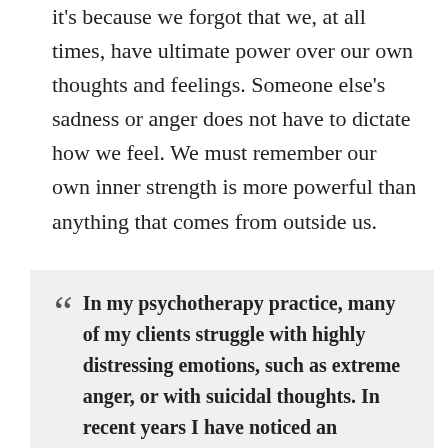it's because we forgot that we, at all times, have ultimate power over our own thoughts and feelings. Someone else's sadness or anger does not have to dictate how we feel. We must remember our own inner strength is more powerful than anything that comes from outside us.

I hope you get a chance to read Negative Emotions Are Key to Well-Being over at Scientific American. Below is a quote from the author, which I found to be so well said.
In my psychotherapy practice, many of my clients struggle with highly distressing emotions, such as extreme anger, or with suicidal thoughts. In recent years I have noticed an